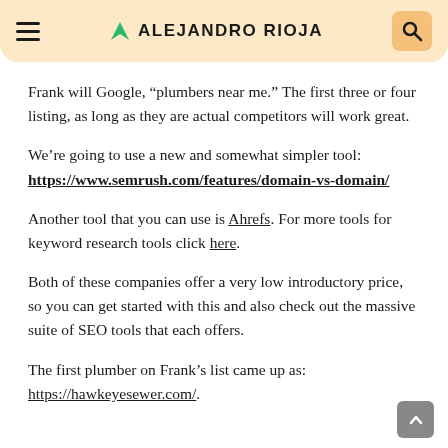ALEJANDRO RIOJA
Frank will Google, “plumbers near me.” The first three or four listing, as long as they are actual competitors will work great.
We’re going to use a new and somewhat simpler tool: https://www.semrush.com/features/domain-vs-domain/
Another tool that you can use is Ahrefs. For more tools for keyword research tools click here.
Both of these companies offer a very low introductory price, so you can get started with this and also check out the massive suite of SEO tools that each offers.
The first plumber on Frank’s list came up as: https://hawkeyesewer.com/.